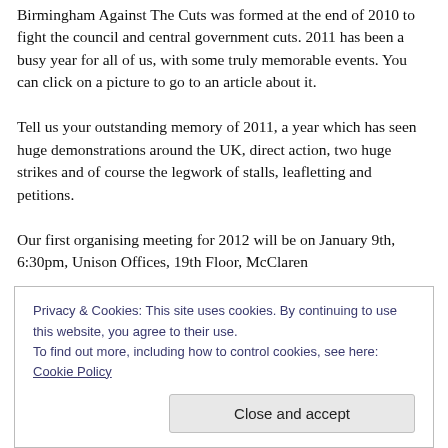Birmingham Against The Cuts was formed at the end of 2010 to fight the council and central government cuts. 2011 has been a busy year for all of us, with some truly memorable events. You can click on a picture to go to an article about it.
Tell us your outstanding memory of 2011, a year which has seen huge demonstrations around the UK, direct action, two huge strikes and of course the legwork of stalls, leafletting and petitions.
Our first organising meeting for 2012 will be on January 9th, 6:30pm, Unison Offices, 19th Floor, McClaren
Privacy & Cookies: This site uses cookies. By continuing to use this website, you agree to their use.
To find out more, including how to control cookies, see here: Cookie Policy
Close and accept